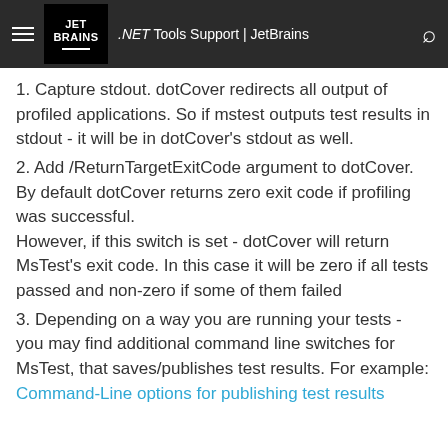.NET Tools Support | JetBrains
1. Capture stdout. dotCover redirects all output of profiled applications. So if mstest outputs test results in stdout - it will be in dotCover's stdout as well.
2. Add /ReturnTargetExitCode argument to dotCover. By default dotCover returns zero exit code if profiling was successful. However, if this switch is set - dotCover will return MsTest's exit code. In this case it will be zero if all tests passed and non-zero if some of them failed
3. Depending on a way you are running your tests - you may find additional command line switches for MsTest, that saves/publishes test results. For example: Command-Line options for publishing test results